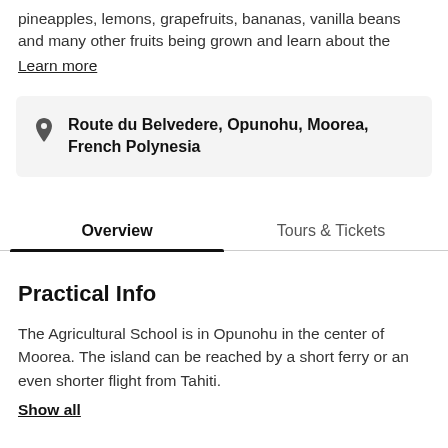pineapples, lemons, grapefruits, bananas, vanilla beans and many other fruits being grown and learn about the
Learn more
Route du Belvedere, Opunohu, Moorea, French Polynesia
Overview	Tours & Tickets
Practical Info
The Agricultural School is in Opunohu in the center of Moorea. The island can be reached by a short ferry or an even shorter flight from Tahiti.
Show all